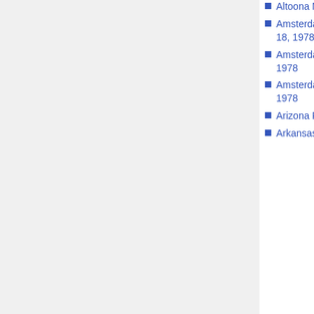Altoona Mirror, August 21, 1978
Amsterdam Telegraaf, February 18, 1978
Amsterdam Telegraaf, May 6, 1978
Amsterdam Telegraaf, June 24, 1978
Arizona Republic, April 7, 1978
Arkansas Gazette, April 9, 1978
California Aggie, April 12, 1978
Camden Courier-Post, February 28, 1978
Canberra Times, July 14, 1978
Canberra Times, October 26, 1978
Canberra Times, November 9, 1978
Canberra Times, December 5, 1978
Canberra Times, December 8, 1978
Carleton University Charlatan, November 9, 1978
Dallas News, 1978
Dayton News, 1978
Dayton Herald, 13, 197...
Dayton Herald, 4, 1978
Dayton Herald, 3, 1978
Dayton Beach Journal, 28, 197...
Delaware News J..., February 1978
DePau...